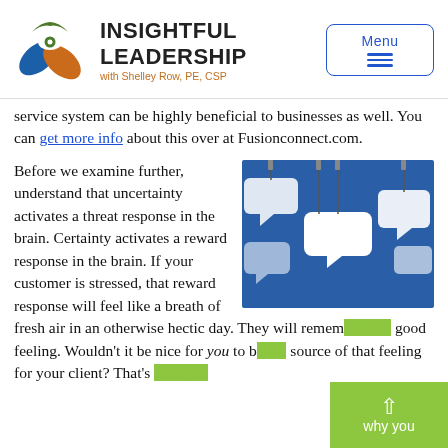INSIGHTFUL LEADERSHIP with Shelley Row, PE, CSP
service system can be highly beneficial to businesses as well. You can get more info about this over at Fusionconnect.com.
Before we examine further, understand that uncertainty activates a threat response in the brain. Certainty activates a reward response in the brain. If your customer is stressed, that reward response will feel like a breath of fresh air in an otherwise hectic day. They will remember that good feeling. Wouldn't it be nice for you to be the source of that feeling for your client? That's why you
[Figure (photo): Photo of white speech bubble cutouts hanging on a blue background]